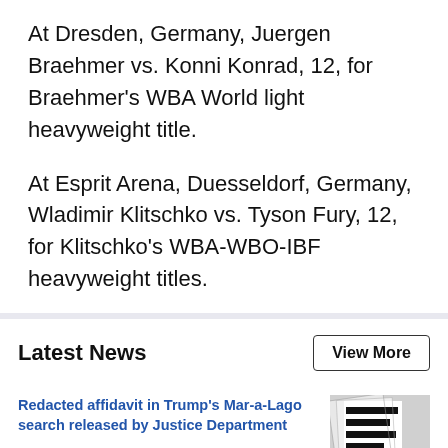At Dresden, Germany, Juergen Braehmer vs. Konni Konrad, 12, for Braehmer's WBA World light heavyweight title.
At Esprit Arena, Duesseldorf, Germany, Wladimir Klitschko vs. Tyson Fury, 12, for Klitschko's WBA-WBO-IBF heavyweight titles.
Latest News
View More
Redacted affidavit in Trump's Mar-a-Lago search released by Justice Department
[Figure (photo): Redacted document pages with black redaction bars]
Black man wrongfully convicted of rape at 17 released from prison, now 53
[Figure (photo): Photo of a Black man with dreadlocks standing outdoors near a tree]